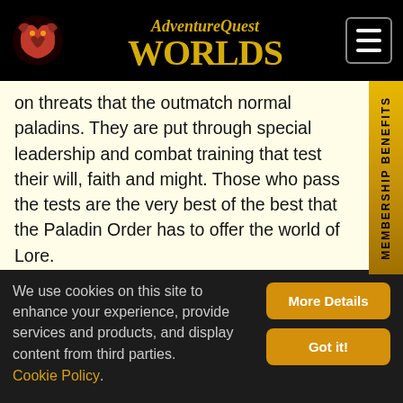AdventureQuest Worlds
on threats that the outmatch normal paladins. They are put through special leadership and combat training that test their will, faith and might. Those who pass the tests are the very best of the best that the Paladin Order has to offer the world of Lore.
[Figure (illustration): Gold and silver armored paladin character from AdventureQuest Worlds game, with spiked shoulder armor and gauntlets, labeled CYSERO above]
We use cookies on this site to enhance your experience, provide services and products, and display content from third parties. Cookie Policy.